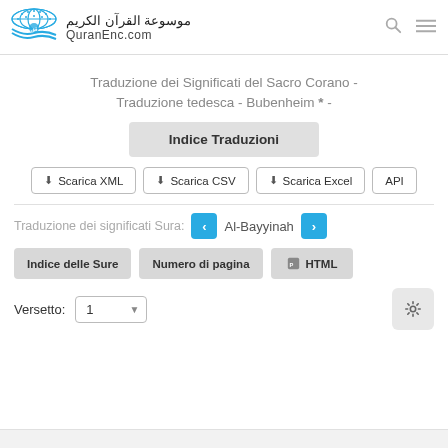[Figure (logo): QuranEnc.com logo with globe/book icon and Arabic text موسوعة القرآن الكريم above QuranEnc.com]
Traduzione dei Significati del Sacro Corano - Traduzione tedesca - Bubenheim * -
Indice Traduzioni
⬇ Scarica XML  ⬇ Scarica CSV  ⬇ Scarica Excel  API
Traduzione dei significati Sura:  Al-Bayyinah
Indice delle Sure  Numero di pagina  🖨 HTML
Versetto: 1